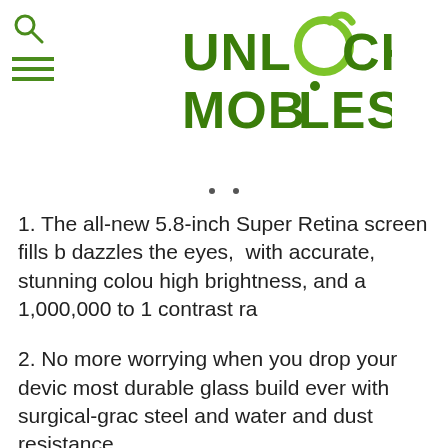[Figure (logo): Unlocked Mobiles .com logo with green text and a green circular element replacing the 'O' in UNLOCKED]
1. The all-new 5.8-inch Super Retina screen fills b dazzles the eyes, with accurate, stunning colour high brightness, and a 1,000,000 to 1 contrast ra
2. No more worrying when you drop your devic most durable glass build ever with surgical-grac steel and water and dust resistance.
3. Enjoy top notch security with your face as yo Face ID is a secure and private new way to unloc and pay. TrueDepth camera projects and analyse 30,000 invisible dots to create a precise depth m